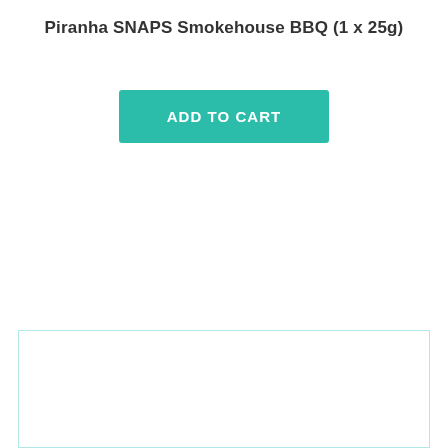Piranha SNAPS Smokehouse BBQ (1 x 25g)
ADD TO CART
[Figure (other): Empty white content box with light teal border at the bottom of the page]